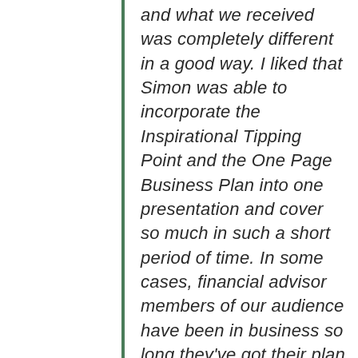and what we received was completely different in a good way. I liked that Simon was able to incorporate the Inspirational Tipping Point and the One Page Business Plan into one presentation and cover so much in such a short period of time. In some cases, financial advisor members of our audience have been in business so long they've got their plan in their head and that they have not that t...